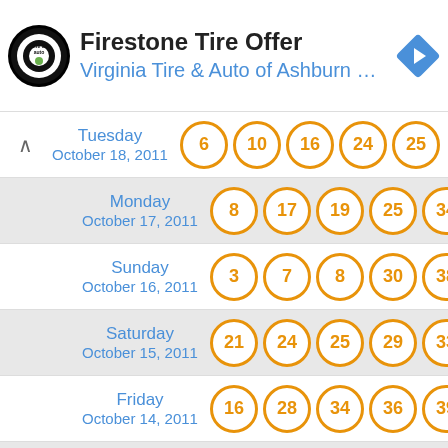[Figure (logo): Firestone Tire Offer advertisement banner with Virginia Tire & Auto of Ashburn logo and navigation arrow]
| Date | Numbers |
| --- | --- |
| Tuesday October 18, 2011 | 6, 10, 16, 24, 25 |
| Monday October 17, 2011 | 8, 17, 19, 25, 34 |
| Sunday October 16, 2011 | 3, 7, 8, 30, 38 |
| Saturday October 15, 2011 | 21, 24, 25, 29, 33 |
| Friday October 14, 2011 | 16, 28, 34, 36, 39 |
| Thursday October 13, 2011 | 1, 7, 23, 25, 36 |